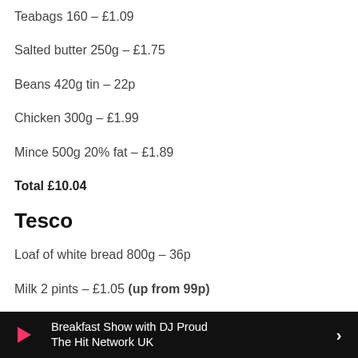Teabags 160 – £1.09
Salted butter 250g – £1.75
Beans 420g tin – 22p
Chicken 300g – £1.99
Mince 500g 20% fat – £1.89
Total £10.04
Tesco
Loaf of white bread 800g – 36p
Milk 2 pints – £1.05 (up from 99p)
Coffee 200g (2 x 100g) – £1.70
Breakfast Show with DJ Proud
The Hit Network UK